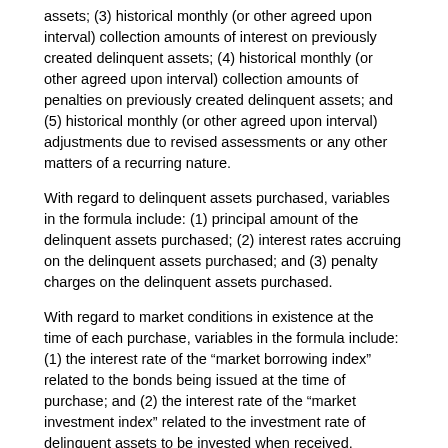assets; (3) historical monthly (or other agreed upon interval) collection amounts of interest on previously created delinquent assets; (4) historical monthly (or other agreed upon interval) collection amounts of penalties on previously created delinquent assets; and (5) historical monthly (or other agreed upon interval) adjustments due to revised assessments or any other matters of a recurring nature.
With regard to delinquent assets purchased, variables in the formula include: (1) principal amount of the delinquent assets purchased; (2) interest rates accruing on the delinquent assets purchased; and (3) penalty charges on the delinquent assets purchased.
With regard to market conditions in existence at the time of each purchase, variables in the formula include: (1) the interest rate of the “market borrowing index” related to the bonds being issued at the time of purchase; and (2) the interest rate of the “market investment index” related to the investment rate of delinquent assets to be invested when received.
With regard to the purchase price percent, variables in the formula include: the percentage of the present value at which each series of delinquent assets is to be purchased, wherein the purchase price for this analysis equals 95% of present value. Although the analysis maintains the 95% purchase price over the life of the analysis, after asset coverage exceeds the amount required in the offering documents, the municipality may desire